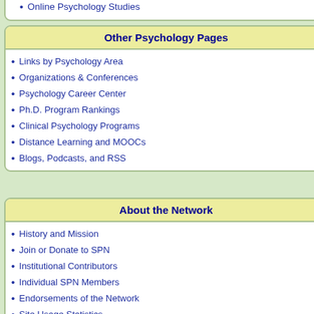Online Psychology Studies
Other Psychology Pages
Links by Psychology Area
Organizations & Conferences
Psychology Career Center
Ph.D. Program Rankings
Clinical Psychology Programs
Distance Learning and MOOCs
Blogs, Podcasts, and RSS
About the Network
History and Mission
Join or Donate to SPN
Institutional Contributors
Individual SPN Members
Endorsements of the Network
Site Usage Statistics
SPN User Policy
Pratto, Sidanius, Stallworth & Ma
Last edited by user: November 27, 200
Visits since June 9, 2001: 45,113